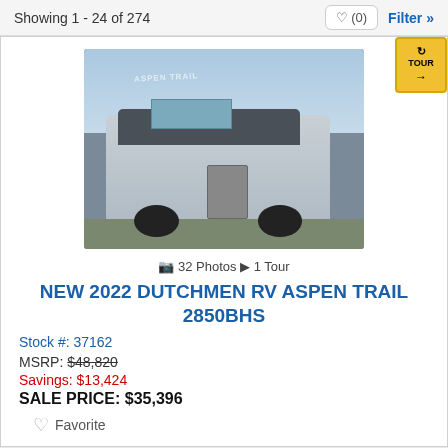Showing 1 - 24 of 274
[Figure (photo): Photo of a 2022 Dutchmen RV Aspen Trail 2850BHS travel trailer with 32 photos and 1 virtual tour available]
📷 32 Photos  🎥 1 Tour
NEW 2022 DUTCHMEN RV ASPEN TRAIL 2850BHS
Stock #: 37162
MSRP: $48,820
Savings: $13,424
SALE PRICE: $35,396
Favorite
[Figure (photo): Photo of a second RV listing with virtual tour badge]